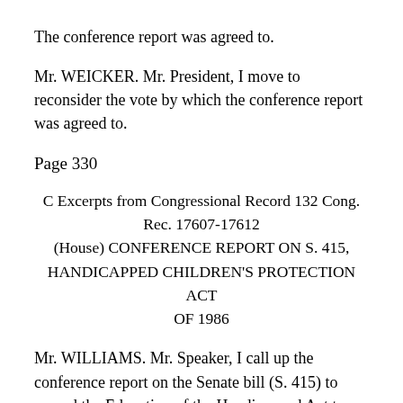The conference report was agreed to.
Mr. WEICKER. Mr. President, I move to reconsider the vote by which the conference report was agreed to.
Page 330
C Excerpts from Congressional Record 132 Cong. Rec. 17607-17612
(House) CONFERENCE REPORT ON S. 415, HANDICAPPED CHILDREN'S PROTECTION ACT OF 1986
Mr. WILLIAMS. Mr. Speaker, I call up the conference report on the Senate bill (S. 415) to amend the Education of the Handicapped Act to authorize the award of reasonable attorneys' fees